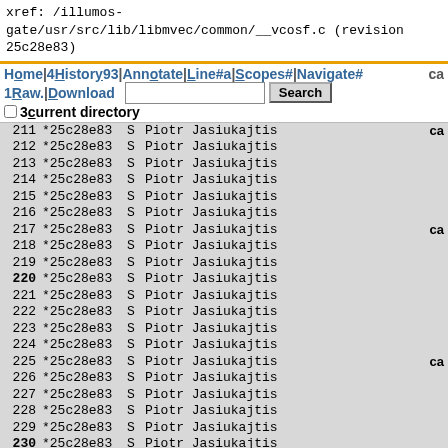xref: /illumos-gate/usr/src/lib/libmvec/common/__vcosf.c (revision 25c28e83)
Home | History | Annotate | Line# | Scopes# | Navigate# | Raw | Download | Search | current directory
| line | revision | S | author |
| --- | --- | --- | --- |
| 211 | *25c28e83 | S | Piotr Jasiukajtis |
| 212 | *25c28e83 | S | Piotr Jasiukajtis |
| 213 | *25c28e83 | S | Piotr Jasiukajtis |
| 214 | *25c28e83 | S | Piotr Jasiukajtis |
| 215 | *25c28e83 | S | Piotr Jasiukajtis |
| 216 | *25c28e83 | S | Piotr Jasiukajtis |
| 217 | *25c28e83 | S | Piotr Jasiukajtis |
| 218 | *25c28e83 | S | Piotr Jasiukajtis |
| 219 | *25c28e83 | S | Piotr Jasiukajtis |
| 220 | *25c28e83 | S | Piotr Jasiukajtis |
| 221 | *25c28e83 | S | Piotr Jasiukajtis |
| 222 | *25c28e83 | S | Piotr Jasiukajtis |
| 223 | *25c28e83 | S | Piotr Jasiukajtis |
| 224 | *25c28e83 | S | Piotr Jasiukajtis |
| 225 | *25c28e83 | S | Piotr Jasiukajtis |
| 226 | *25c28e83 | S | Piotr Jasiukajtis |
| 227 | *25c28e83 | S | Piotr Jasiukajtis |
| 228 | *25c28e83 | S | Piotr Jasiukajtis |
| 229 | *25c28e83 | S | Piotr Jasiukajtis |
| 230 | *25c28e83 | S | Piotr Jasiukajtis |
| 231 | *25c28e83 | S | Piotr Jasiukajtis |
| 232 | *25c28e83 | S | Piotr Jasiukajtis |
| 233 | *25c28e83 | S | Piotr Jasiukajtis |
| 234 | *25c28e83 | S | Piotr Jasiukajtis |
| 235 | *25c28e83 | S | Piotr Jasiukajtis |